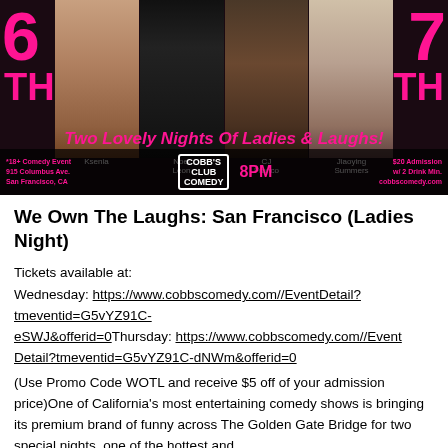[Figure (photo): Comedy show promotional poster for 'Two Lovely Nights Of Ladies & Laughs!' at Cobb's Comedy Club in San Francisco. Features four female comedians (Ksenia, Noel Leon, CJ Franco, Jiaoying Summers) with pink neon text showing dates 6TH and 7TH, address 915 Columbus Ave San Francisco CA, 8PM show time, $20 admission w/ 2 Drink Min, cobbscomedy.com]
We Own The Laughs: San Francisco (Ladies Night)
Tickets available at:
Wednesday: https://www.cobbscomedy.com//EventDetail?tmeventid=G5vYZ91C-eSWJ&offerid=0Thursday: https://www.cobbscomedy.com//EventDetail?tmeventid=G5vYZ91C-dNWm&offerid=0
(Use Promo Code WOTL and receive $5 off of your admission price)One of California's most entertaining comedy shows is bringing its premium brand of funny across The Golden Gate Bridge for two special nights, one of the hottest and